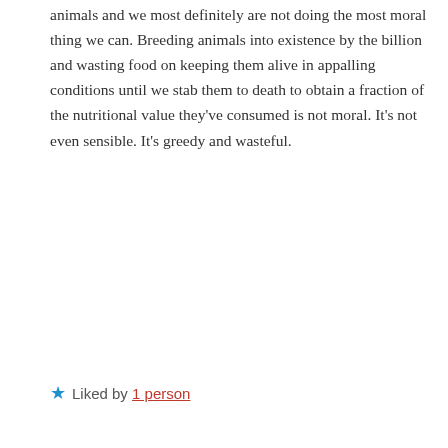animals and we most definitely are not doing the most moral thing we can. Breeding animals into existence by the billion and wasting food on keeping them alive in appalling conditions until we stab them to death to obtain a fraction of the nutritional value they've consumed is not moral. It's not even sensible. It's greedy and wasteful.
★ Liked by 1 person
REPLY
Advertisements
[Figure (logo): Pressable logo with P icon and text]
· · · · · · · · ·
The Platform Where WordPress